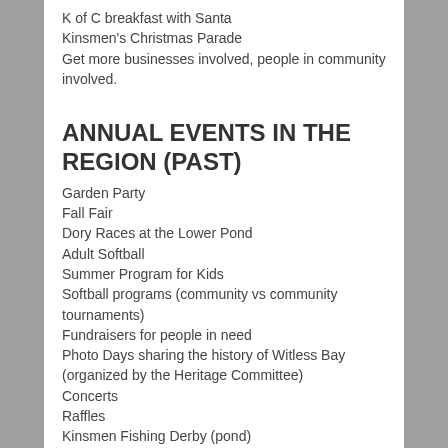K of C breakfast with Santa
Kinsmen's Christmas Parade
Get more businesses involved, people in community involved.
ANNUAL EVENTS IN THE REGION (PAST)
Garden Party
Fall Fair
Dory Races at the Lower Pond
Adult Softball
Summer Program for Kids
Softball programs (community vs community tournaments)
Fundraisers for people in need
Photo Days sharing the history of Witless Bay (organized by the Heritage Committee)
Concerts
Raffles
Kinsmen Fishing Derby (pond)